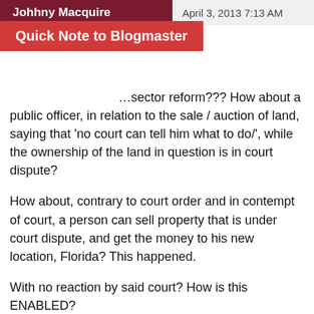Johhny Macquire   April 3, 2013 7:13 AM
Quick Note to Blogmaster
...sector reform??? How about a public officer, in relation to the sale / auction of land, saying that 'no court can tell him what to do/', while the ownership of the land in question is in court dispute?
How about, contrary to court order and in contempt of court, a person can sell property that is under court dispute, and get the money to his new location, Florida? This happened.
With no reaction by said court? How is this ENABLED?
As your lawyer Amused says, the legal system is broke, and there are those who know 'how' to get